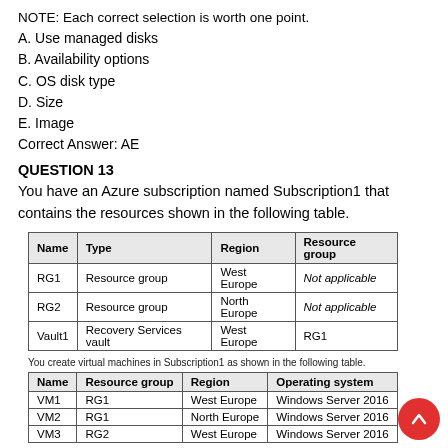NOTE: Each correct selection is worth one point.
A. Use managed disks
B. Availability options
C. OS disk type
D. Size
E. Image
Correct Answer: AE
QUESTION 13
You have an Azure subscription named Subscription1 that contains the resources shown in the following table.
| Name | Type | Region | Resource group |
| --- | --- | --- | --- |
| RG1 | Resource group | West Europe | Not applicable |
| RG2 | Resource group | North Europe | Not applicable |
| Vault1 | Recovery Services vault | West Europe | RG1 |
You create virtual machines in Subscription1 as shown in the following table.
| Name | Resource group | Region | Operating system |
| --- | --- | --- | --- |
| VM1 | RG1 | West Europe | Windows Server 2016 |
| VM2 | RG1 | North Europe | Windows Server 2016 |
| VM3 | RG2 | West Europe | Windows Server 2016 |